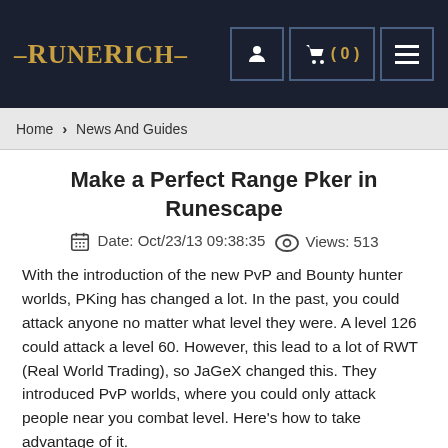RuneRich — navigation header with logo, user icon, cart (0), and menu
Home › News And Guides
Make a Perfect Range Pker in Runescape
Date: Oct/23/13 09:38:35   Views: 513
With the introduction of the new PvP and Bounty hunter worlds, PKing has changed a lot. In the past, you could attack anyone no matter what level they were. A level 126 could attack a level 60. However, this lead to a lot of RWT (Real World Trading), so JaGeX changed this. They introduced PvP worlds, where you could only attack people near you combat level. Here's how to take advantage of it.
A low Combat level
It's common knowledge that range does not level your combat much. According to the new PvP, a level 50 would only be able to attack people within the combat range of 39-61. So here I'm going to show how to